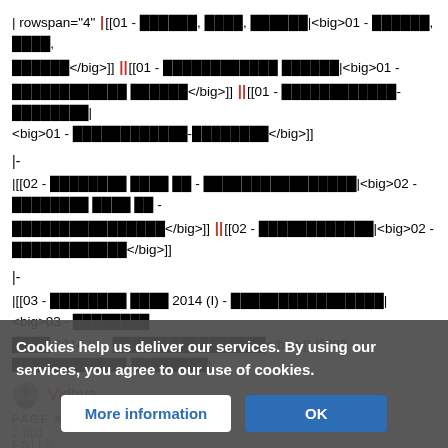| rowspan="4" |[[01 - ████, ████, ██████|<big>01 - ████, ████, ██████</big>]] || [[01 - ████████████ ██████|<big>01 - ████████████ ██████</big>]] || [[01 - ████████████-████████|<big>01 - ████████████-████████</big>]]
|-
|[[02 - ████████ ████ ██ - ████████████████|<big>02 - ████████ ████ ██ - ████████████████</big>]] || [[02 - ████████████|<big>02 - ████████████</big>]]
|-
|[[03 - ████████ ████ 2014 (I) - ████████████████|<big>03 - ████████ ████ 2014 (I) - ████████████████</big>]] || [[03 - ████████████-████████|
Vidhya
PAGE AND LINK MANAGERS.
Cookies help us deliver our services. By using our services, you agree to our use of cookies.
More information
OK